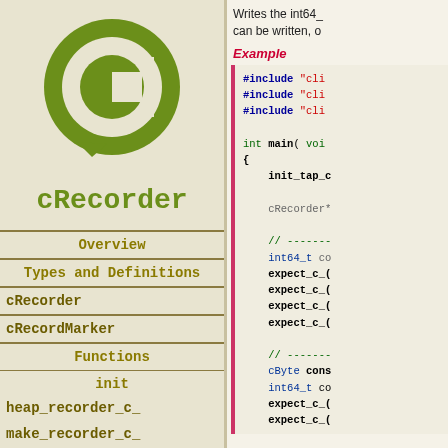[Figure (logo): cRecorder logo: green circle with letter C and speech bubble tail]
cRecorder
Overview
Types and Definitions
cRecorder
cRecordMarker
Functions
init
heap_recorder_c_
make_recorder_c_
null_recorder_c_
recorder_c_
Writes the int64_ can be written, o
Example
#include "cli"
#include "cli"
#include "cli"

int main( voi
{
    init_tap_c

    cRecorder*

    // -------
    int64_t co
    expect_c_(
    expect_c_(
    expect_c_(
    expect_c_(

    // -------
    cByte cons
    int64_t co
    expect_c_(
    expect_c_(